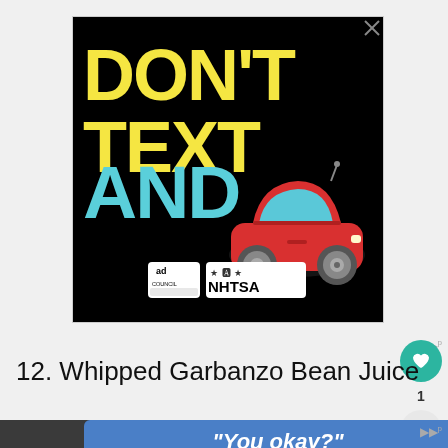[Figure (illustration): NHTSA 'Don't Text and Drive' public safety advertisement on black background. Large yellow text reads 'DON'T TEXT' and large cyan/teal text reads 'AND' with a red cartoon car emoji. Bottom shows Ad Council and NHTSA logos. Small X close button in top right corner.]
12. Whipped Garbanzo Bean Juice
[Figure (screenshot): Partial screenshot showing bottom of page with dark food photo and blue banner overlay reading "You okay?" in white italic text. Mute/speaker icons visible on right side.]